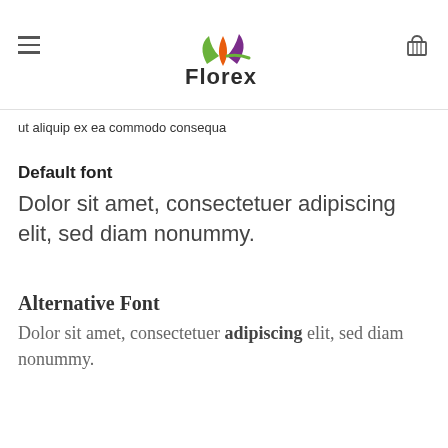[Figure (logo): Florex logo with colorful flower/leaf icon in green, orange, and purple, with the word 'Florex' in dark bold sans-serif text below]
ut aliquip ex ea commodo consequa
Default font
Dolor sit amet, consectetuer adipiscing elit, sed diam nonummy.
Alternative Font
Dolor sit amet, consectetuer adipiscing elit, sed diam nonummy.